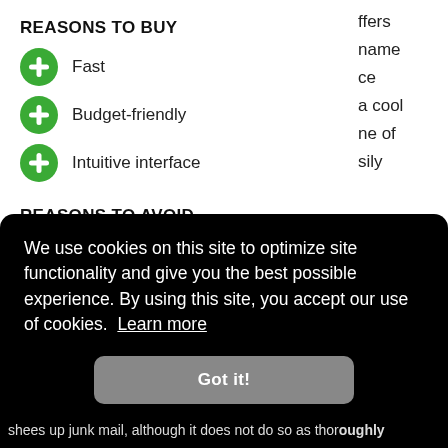REASONS TO BUY
Fast
Budget-friendly
Intuitive interface
REASONS TO AVOID
Cumbersome to empty
Heavy lid
We use cookies on this site to optimize site functionality and give you the best possible experience. By using this site, you accept our use of cookies. Learn more
Got it!
shees up junk mail, although it does not do so as thoroughly